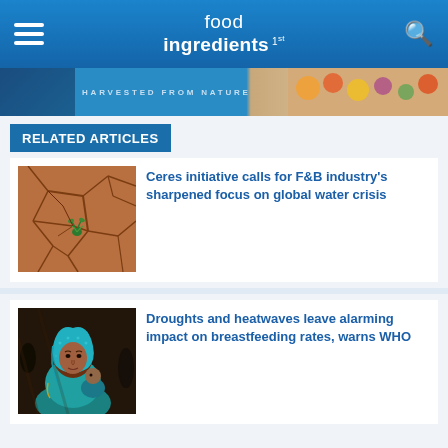food ingredients 1st
[Figure (screenshot): Banner strip with 'HARVESTED FROM NATURE' text and food images on right side]
RELATED ARTICLES
[Figure (photo): Cracked dry earth with a small green plant growing in the center]
Ceres initiative calls for F&B industry's sharpened focus on global water crisis
[Figure (photo): Woman in blue headscarf holding a baby, WHO breastfeeding article image]
Droughts and heatwaves leave alarming impact on breastfeeding rates, warns WHO